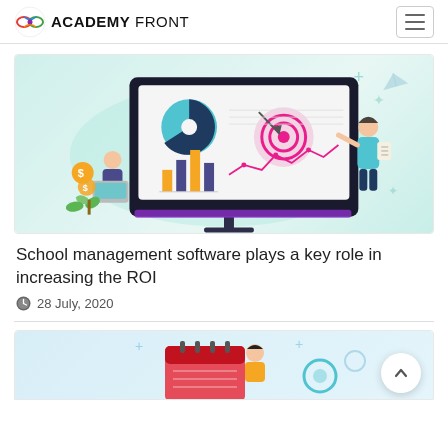ACADEMY FRONT
[Figure (illustration): Marketing analytics illustration: large monitor displaying pie chart, bar chart, target/bullseye, and line graph; person sitting with laptop and dollar coins; person standing pointing at screen]
School management software plays a key role in increasing the ROI
28 July, 2020
[Figure (illustration): Partial illustration showing a person with a calendar/planner and gear icons, partially visible at bottom of page]